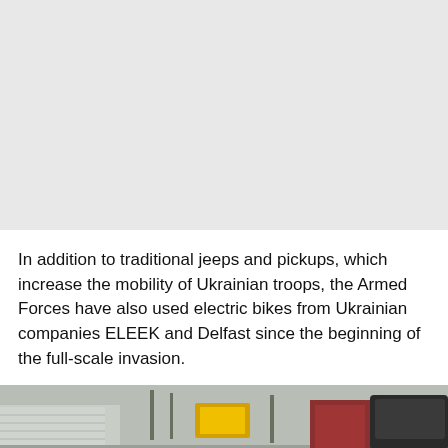[Figure (photo): Top portion of a photograph, mostly overcast sky or light background, appearing as a grey/light area taking up the top portion of the page.]
In addition to traditional jeeps and pickups, which increase the mobility of Ukrainian troops, the Armed Forces have also used electric bikes from Ukrainian companies ELEEK and Delfast since the beginning of the full-scale invasion.
[Figure (photo): Bottom portion of a street scene photograph showing buildings, a yellow sign, a red structure, and a vehicle on the right side.]